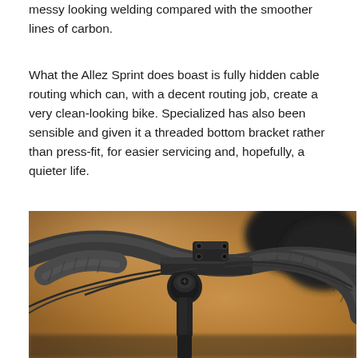messy looking welding compared with the smoother lines of carbon.
What the Allez Sprint does boast is fully hidden cable routing which can, with a decent routing job, create a very clean-looking bike. Specialized has also been sensible and given it a threaded bottom bracket rather than press-fit, for easier servicing and, hopefully, a quieter life.
[Figure (photo): Close-up photo of a road bike's cockpit area showing dark/grey handlebars with bar tape, stem, headset top cap, and brake/shift cables routed along the bars. The background is blurred with warm brown/tan tones.]